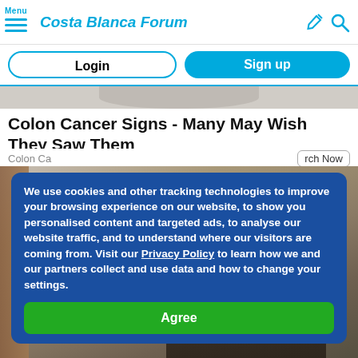Menu | Costa Blanca Forum
Login
Sign up
[Figure (photo): Partial top image strip, cropped head/shoulder area]
Colon Cancer Signs - Many May Wish They Saw Them
Colon Ca... | rch Now
[Figure (photo): Person covering face with cloth in bathroom]
We use cookies and other tracking technologies to improve your browsing experience on our website, to show you personalised content and targeted ads, to analyse our website traffic, and to understand where our visitors are coming from. Visit our Privacy Policy to learn how we and our partners collect and use data and how to change your settings.
Agree